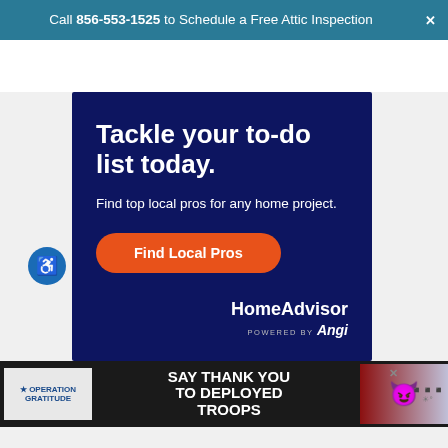Call 856-553-1525 to Schedule a Free Attic Inspection
[Figure (infographic): HomeAdvisor advertisement with dark navy background. Headline: 'Tackle your to-do list today.' Subtext: 'Find top local pros for any home project.' Orange pill-shaped button: 'Find Local Pros'. Bottom right: HomeAdvisor logo, POWERED BY Angi. Blue accessibility button on left side.]
[Figure (infographic): Operation Gratitude banner ad on black background. Logo on left, text 'SAY THANK YOU TO DEPLOYED TROOPS' in center, patriotic owl mascot on right.]